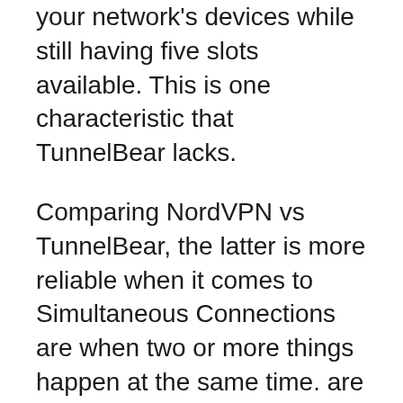your network's devices while still having five slots available. This is one characteristic that TunnelBear lacks.
Comparing NordVPN vs TunnelBear, the latter is more reliable when it comes to Simultaneous Connections are when two or more things happen at the same time. are when two or more things happen at the same time.. NordVPN once again dominates this round.
Servers
A VPN service with a larger number of servers is always the best choice. When picking a VPN provider, it's important to go with one that